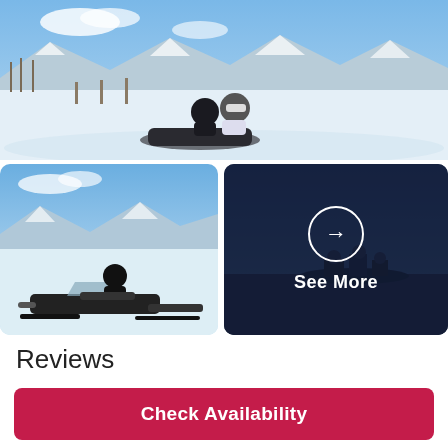[Figure (photo): Two people in snowmobile gear and helmets seated on a snowmobile in a snowy landscape with bare trees and snow-capped mountains in background under blue sky.]
[Figure (photo): Person in black snowmobile gear seated on a black snowmobile in a snowy field with blue sky and mountains in background.]
[Figure (photo): Dark overlay image showing group of snowmobilers with a 'See More' call-to-action button with arrow circle icon.]
Reviews
Check Availability